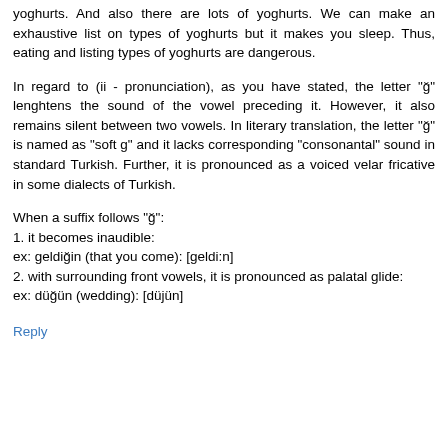yoghurts. And also there are lots of yoghurts. We can make an exhaustive list on types of yoghurts but it makes you sleep. Thus, eating and listing types of yoghurts are dangerous.
In regard to (ii - pronunciation), as you have stated, the letter "ğ" lenghtens the sound of the vowel preceding it. However, it also remains silent between two vowels. In literary translation, the letter "ğ" is named as "soft g" and it lacks corresponding "consonantal" sound in standard Turkish. Further, it is pronounced as a voiced velar fricative in some dialects of Turkish.
When a suffix follows "ğ":
1. it becomes inaudible:
ex: geldiğin (that you come): [geldi:n]
2. with surrounding front vowels, it is pronounced as palatal glide:
ex: düğün (wedding): [düjün]
Reply